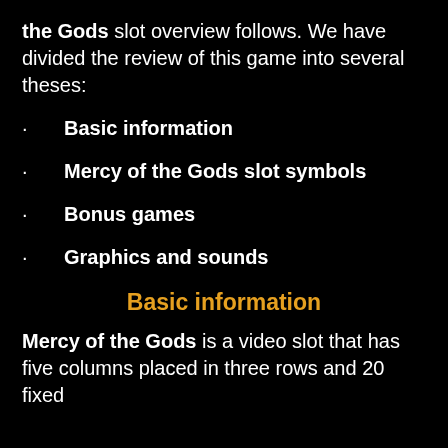the Gods slot overview follows. We have divided the review of this game into several theses:
Basic information
Mercy of the Gods slot symbols
Bonus games
Graphics and sounds
Basic information
Mercy of the Gods is a video slot that has five columns placed in three rows and 20 fixed